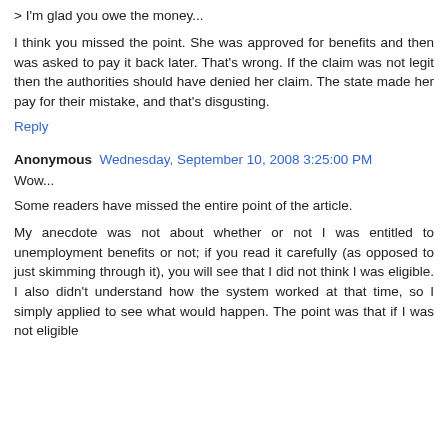> I'm glad you owe the money...
I think you missed the point. She was approved for benefits and then was asked to pay it back later. That's wrong. If the claim was not legit then the authorities should have denied her claim. The state made her pay for their mistake, and that's disgusting.
Reply
Anonymous Wednesday, September 10, 2008 3:25:00 PM
Wow...
Some readers have missed the entire point of the article.
My anecdote was not about whether or not I was entitled to unemployment benefits or not; if you read it carefully (as opposed to just skimming through it), you will see that I did not think I was eligible. I also didn't understand how the system worked at that time, so I simply applied to see what would happen. The point was that if I was not eligible...